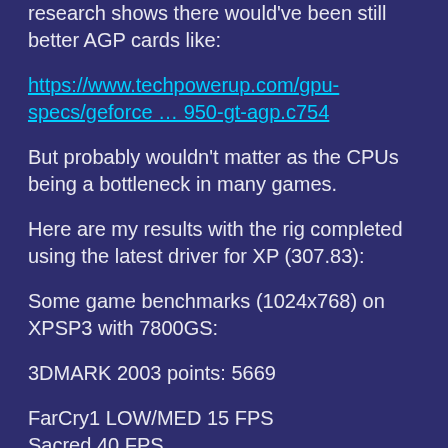research shows there would've been still better AGP cards like:
https://www.techpowerup.com/gpu-specs/geforce … 950-gt-agp.c754
But probably wouldn't matter as the CPUs being a bottleneck in many games.
Here are my results with the rig completed using the latest driver for XP (307.83):
Some game benchmarks (1024x768) on XPSP3 with 7800GS:
3DMARK 2003 points: 5669
FarCry1 LOW/MED 15 FPS
Sacred 40 FPS
War3 TFT 40 FPS